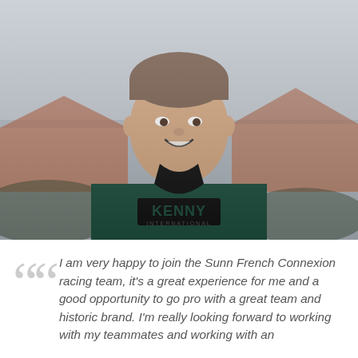[Figure (photo): Young man smiling, wearing a dark green KENNY branded hoodie, standing outdoors with blurred background of rooftops and sky.]
I am very happy to join the Sunn French Connexion racing team, it's a great experience for me and a good opportunity to go pro with a great team and historic brand. I'm really looking forward to working with my teammates and working with an